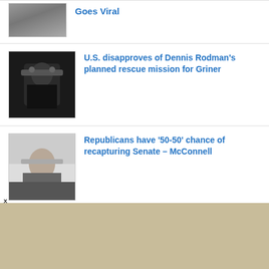[Figure (photo): Partial news thumbnail at top of page, partially visible]
Goes Viral
[Figure (photo): Photo of Dennis Rodman wearing sunglasses and a black outfit]
U.S. disapproves of Dennis Rodman's planned rescue mission for Griner
[Figure (photo): Photo of Mitch McConnell looking stern with gray hair]
Republicans have '50-50' chance of recapturing Senate – McConnell
[Figure (photo): Photo of Fauci with other individuals in formal setting]
Fauci, face of U.S. COVID response, to step down from government posts